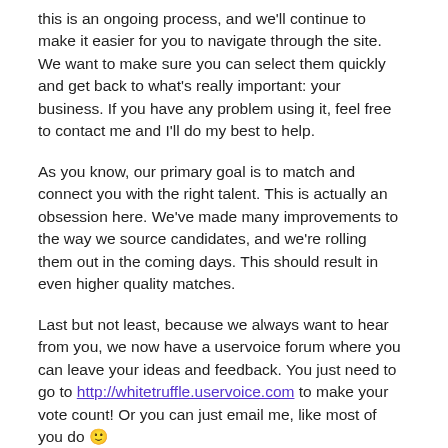this is an ongoing process, and we'll continue to make it easier for you to navigate through the site. We want to make sure you can select them quickly and get back to what's really important: your business. If you have any problem using it, feel free to contact me and I'll do my best to help.
As you know, our primary goal is to match and connect you with the right talent. This is actually an obsession here. We've made many improvements to the way we source candidates, and we're rolling them out in the coming days. This should result in even higher quality matches.
Last but not least, because we always want to hear from you, we now have a uservoice forum where you can leave your ideas and feedback. You just need to go to http://whitetruffle.uservoice.com to make your vote count! Or you can just email me, like most of you do 🙂
Thank you all for your support and for using Whitetruffle.